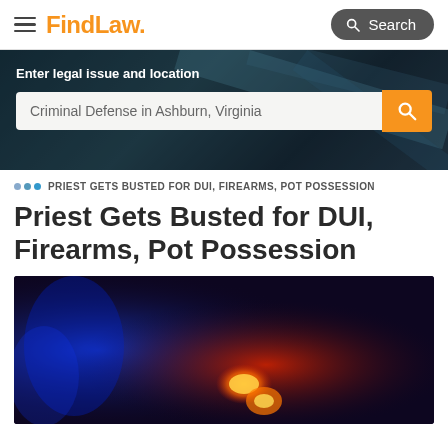FindLaw
[Figure (screenshot): FindLaw website hero banner with search bar. Text: 'Enter legal issue and location'. Search input shows 'Criminal Defense in Ashburn, Virginia' with an orange search button.]
PRIEST GETS BUSTED FOR DUI, FIREARMS, POT POSSESSION
Priest Gets Busted for DUI, Firearms, Pot Possession
[Figure (photo): Dark photo with blue and red lighting showing glowing orange objects, likely related to DUI/traffic stop imagery.]